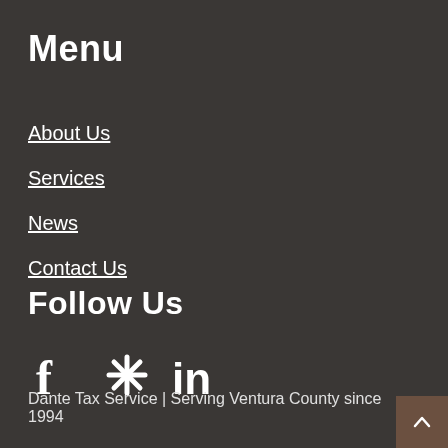Menu
About Us
Services
News
Contact Us
Follow Us
[Figure (other): Social media icons: Facebook (f), Yelp (asterisk/star), LinkedIn (in)]
Dante Tax Service | Serving Ventura County since 1994